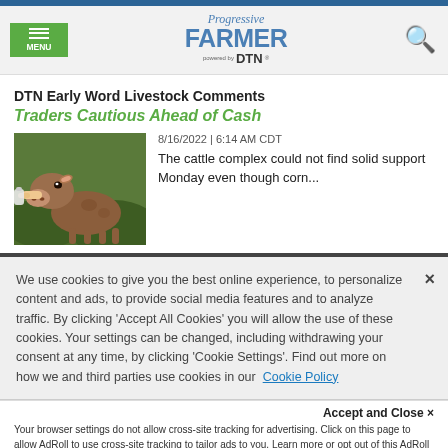Progressive Farmer powered by DTN
DTN Early Word Livestock Comments
Traders Cautious Ahead of Cash
[Figure (photo): Close-up photo of a brown calf being bottle-fed]
8/16/2022 | 6:14 AM CDT
The cattle complex could not find solid support Monday even though corn...
We use cookies to give you the best online experience, to personalize content and ads, to provide social media features and to analyze traffic. By clicking 'Accept All Cookies' you will allow the use of these cookies. Your settings can be changed, including withdrawing your consent at any time, by clicking 'Cookie Settings'. Find out more on how we and third parties use cookies in our Cookie Policy
Accept and Close ×
Your browser settings do not allow cross-site tracking for advertising. Click on this page to allow AdRoll to use cross-site tracking to tailor ads to you. Learn more or opt out of this AdRoll tracking by clicking here. This message only appears once.